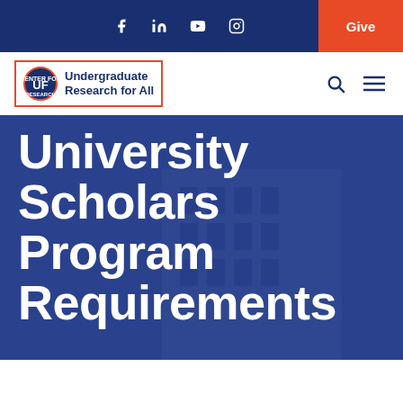f  in  ▶  ○  Give
[Figure (logo): UF Center for Undergraduate Research for All logo with orange border]
University Scholars Program Requirements